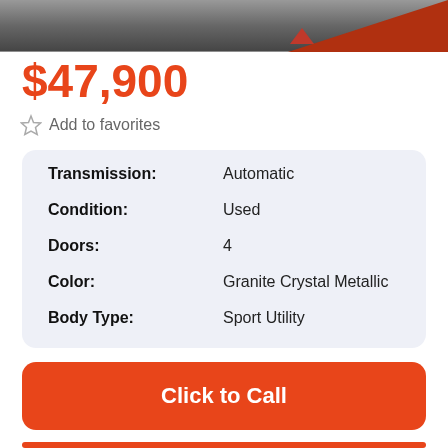[Figure (photo): Top portion of a vehicle listing page showing a car image with a dark background and a red diagonal banner/overlay in the bottom right corner]
$47,900
Add to favorites
| Transmission: | Automatic |
| Condition: | Used |
| Doors: | 4 |
| Color: | Granite Crystal Metallic |
| Body Type: | Sport Utility |
Click to Call